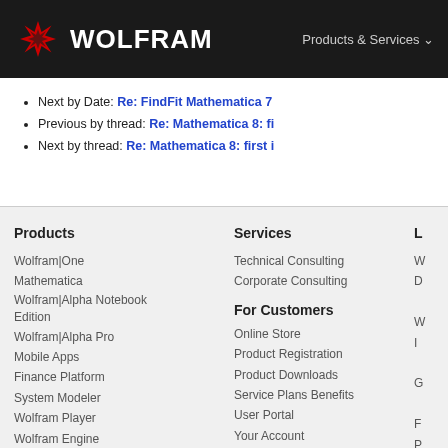WOLFRAM  Products & Services
Next by Date: Re: FindFit Mathematica 7
Previous by thread: Re: Mathematica 8: fi
Next by thread: Re: Mathematica 8: first i
Products
Wolfram|One
Mathematica
Wolfram|Alpha Notebook Edition
Wolfram|Alpha Pro
Mobile Apps
Finance Platform
System Modeler
Wolfram Player
Wolfram Engine
WolframScript
Wolfram Workbench
Services
Technical Consulting
Corporate Consulting
For Customers
Online Store
Product Registration
Product Downloads
Service Plans Benefits
User Portal
Your Account